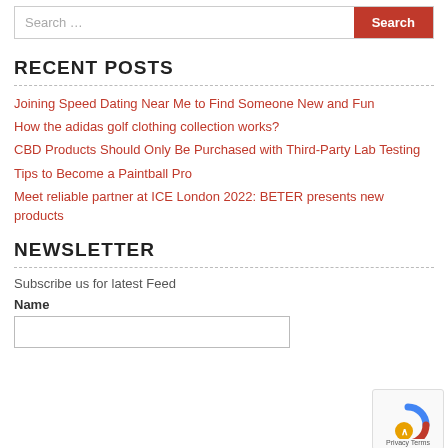Search ...
RECENT POSTS
Joining Speed Dating Near Me to Find Someone New and Fun
How the adidas golf clothing collection works?
CBD Products Should Only Be Purchased with Third-Party Lab Testing
Tips to Become a Paintball Pro
Meet reliable partner at ICE London 2022: BETER presents new products
NEWSLETTER
Subscribe us for latest Feed
Name